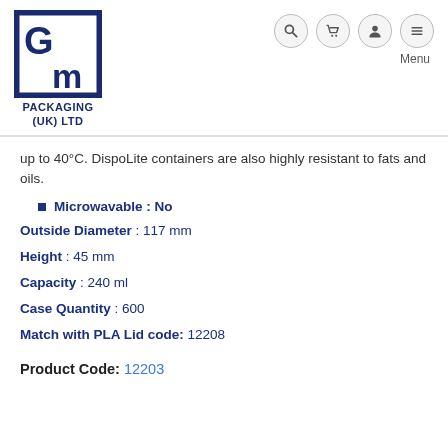[Figure (logo): GM Packaging (UK) Ltd logo — square navy blue border with G and M letters inside]
up to 40°C. DispoLite containers are also highly resistant to fats and oils.
Microwavable : No
Outside Diameter : 117 mm
Height : 45 mm
Capacity : 240 ml
Case Quantity : 600
Match with PLA Lid code: 12208
Product Code: 12203